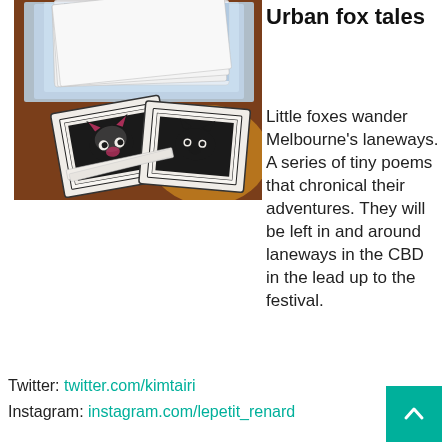[Figure (photo): Stacks of small handmade booklets/cards with fox linocut prints on a wooden table, with larger photo prints fanned out in the background.]
Urban fox tales
Little foxes wander Melbourne's laneways. A series of tiny poems that chronical their adventures. They will be left in and around laneways in the CBD in the lead up to the festival.
Twitter: twitter.com/kimtairi
Instagram: instagram.com/lepetit_renard